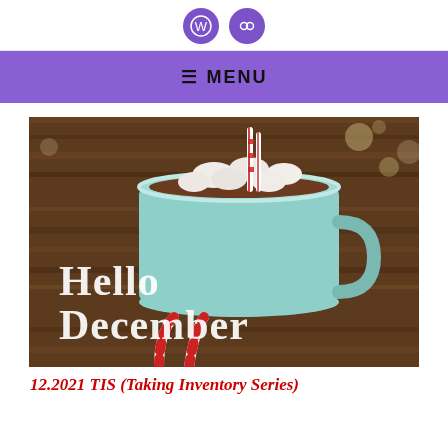[WordPress icon] [Link icon]
≡ MENU
[Figure (photo): A teal enamel mug filled with hot cocoa topped with marshmallows and a candy cane straw, sitting on a wooden surface with candy canes in the foreground. White text overlay reads 'Hello December'.]
12.2021 TIS (Taking Inventory Series)